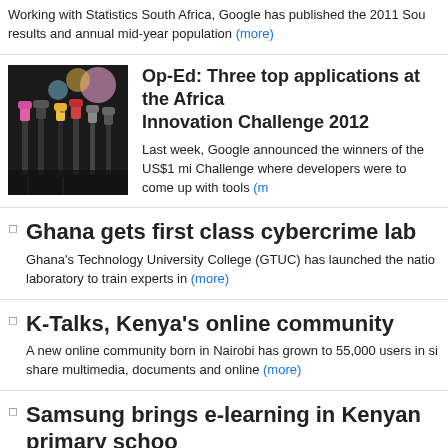Working with Statistics South Africa, Google has published the 2011 South Africa Census results and annual mid-year population (more)
Op-Ed: Three top applications at the Africa Innovation Challenge 2012
Last week, Google announced the winners of the US$1 million Africa Innovation Challenge where developers were to come up with tools (more)
Ghana gets first class cybercrime lab
Ghana's Technology University College (GTUC) has launched the national laboratory to train experts in (more)
K-Talks, Kenya's online community
A new online community born in Nairobi has grown to 55,000 users in six months and they share multimedia, documents and online (more)
Samsung brings e-learning in Kenyan primary schools
Samsung Electronics has launched a pilot training program dubbed Samsung Smart School imparting digital skills in classroom (more)